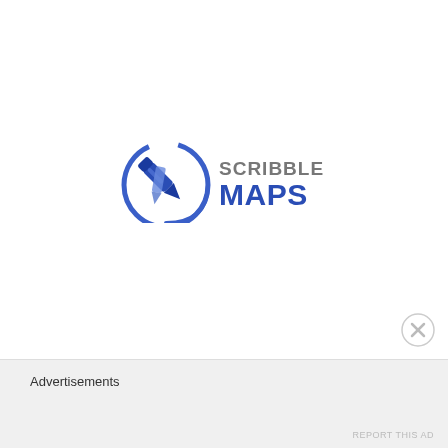[Figure (logo): Scribble Maps logo: a blue circular icon with a pen/pencil drawing tool, next to the text 'SCRIBBLE' in gray and 'MAPS' in bold blue]
Advertisements
[Figure (other): Close/dismiss button (circle with X) for the advertisement bar]
REPORT THIS AD